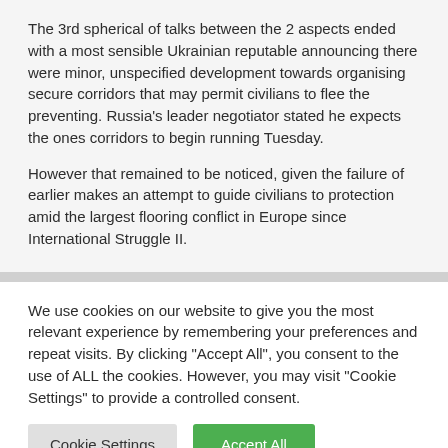The 3rd spherical of talks between the 2 aspects ended with a most sensible Ukrainian reputable announcing there were minor, unspecified development towards organising secure corridors that may permit civilians to flee the preventing. Russia's leader negotiator stated he expects the ones corridors to begin running Tuesday.
However that remained to be noticed, given the failure of earlier makes an attempt to guide civilians to protection amid the largest flooring conflict in Europe since International Struggle II.
We use cookies on our website to give you the most relevant experience by remembering your preferences and repeat visits. By clicking "Accept All", you consent to the use of ALL the cookies. However, you may visit "Cookie Settings" to provide a controlled consent.